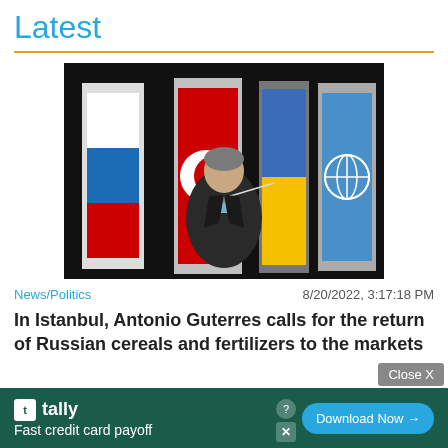Latest
[Figure (photo): A man in a dark suit speaks at a podium with a microphone in front of several flags including the Russian, Turkish, Ukrainian, and United Nations flags against a dark background.]
News/Politics    8/20/2022, 3:17:18 PM
In Istanbul, Antonio Guterres calls for the return of Russian cereals and fertilizers to the markets
[Figure (screenshot): Advertisement banner for Tally app: 'Fast credit card payoff' with a Download Now button, and a Close X button above.]